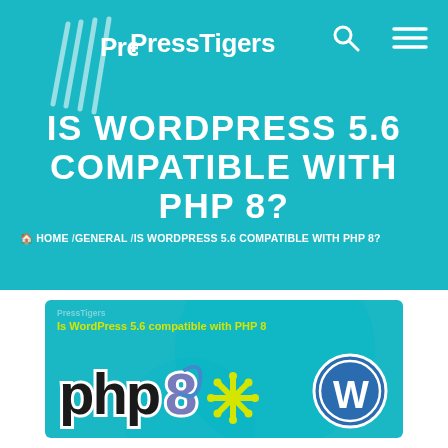[Figure (logo): PressTigers logo with tiger claw marks and bold white text on teal background, plus search icon and hamburger menu icon]
IS WORDPRESS 5.6 COMPATIBLE WITH PHP 8?
HOME / GENERAL / IS WORDPRESS 5.6 COMPATIBLE WITH PHP 8?
[Figure (illustration): Blog post featured image on teal background showing PHP 8 logo, a gear/asterisk icon in yellow, and WordPress logo (W in circle). Text: PressTigers / Is WordPress 5.6 compatible with PHP 8]